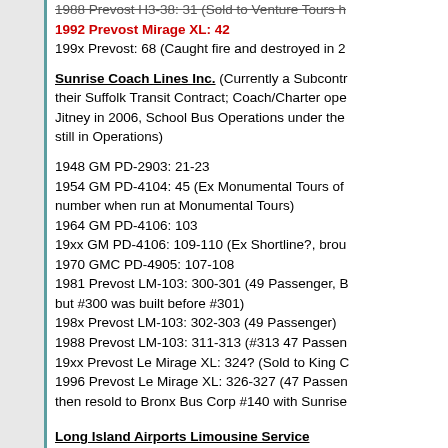1992 Prevost Mirage XL: 42
199x Prevost: 68 (Caught fire and destroyed in 2...
Sunrise Coach Lines Inc.
(Currently a Subcontr... their Suffolk Transit Contract; Coach/Charter ope... Jitney in 2006, School Bus Operations under the... still in Operations)
1948 GM PD-2903: 21-23
1954 GM PD-4104: 45 (Ex Monumental Tours of... number when run at Monumental Tours)
1964 GM PD-4106: 103
19xx GM PD-4106: 109-110 (Ex Shortline?, brou...
1970 GMC PD-4905: 107-108
1981 Prevost LM-103: 300-301 (49 Passenger, B... but #300 was built before #301)
198x Prevost LM-103: 302-303 (49 Passenger)
1988 Prevost LM-103: 311-313 (#313 47 Passen...
19xx Prevost Le Mirage XL: 324? (Sold to King C...
1996 Prevost Le Mirage XL: 326-327 (47 Passen... then resold to Bronx Bus Corp #140 with Sunrise...
Long Island Airports Limousine Service
1973 MCI MC7: 711 (Ex Community Coach Corp... #559)
1976 GMC P8M-4905A: 703
1980 Eagle Model AE10: xxx (A.B.A. Demonstrat...
1981 Eagle Model AE10: 1010,1020,1030,1040,1...
(Vin order is 1030,1040,1020,1010,1050,1060,10...